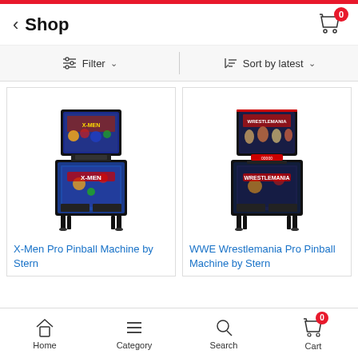Shop
Filter  Sort by latest
[Figure (photo): X-Men Pro Pinball Machine by Stern - front view of pinball machine with X-Men themed artwork]
X-Men Pro Pinball Machine by Stern
[Figure (photo): WWE Wrestlemania Pro Pinball Machine by Stern - front view of pinball machine with WWE Wrestlemania themed artwork]
WWE Wrestlemania Pro Pinball Machine by Stern
Home  Category  Search  Cart